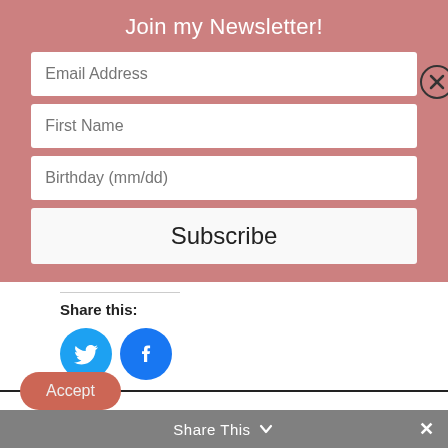Join my Newsletter!
Email Address
First Name
Birthday (mm/dd)
Subscribe
Share this:
[Figure (illustration): Twitter and Facebook social share icon buttons (blue circles with bird and f logos)]
We are using cookies to give you the best experience on our website.
You can find out more about which cookies we are using or switch them off in settings.
Accept
Share This